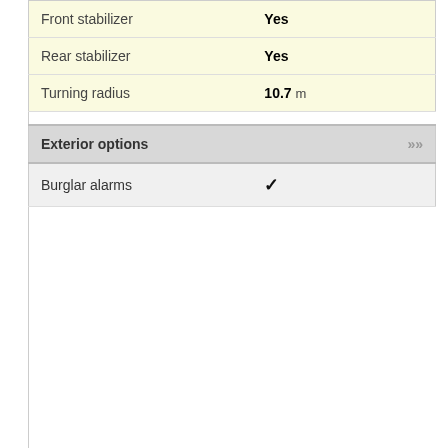| Property | Value |
| --- | --- |
| Front stabilizer | Yes |
| Rear stabilizer | Yes |
| Turning radius | 10.7 m |
Exterior options
| Property | Value |
| --- | --- |
| Burglar alarms | ✔ |